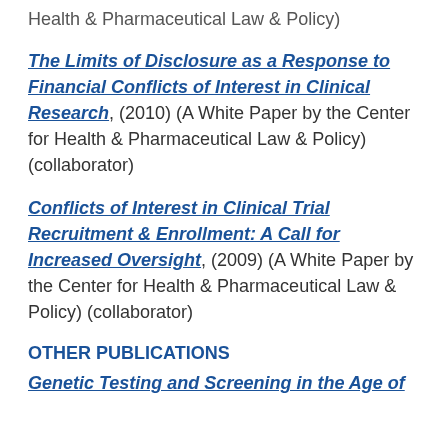Health & Pharmaceutical Law & Policy)
The Limits of Disclosure as a Response to Financial Conflicts of Interest in Clinical Research, (2010) (A White Paper by the Center for Health & Pharmaceutical Law & Policy) (collaborator)
Conflicts of Interest in Clinical Trial Recruitment & Enrollment: A Call for Increased Oversight, (2009) (A White Paper by the Center for Health & Pharmaceutical Law & Policy) (collaborator)
OTHER PUBLICATIONS
Genetic Testing and Screening in the Age of